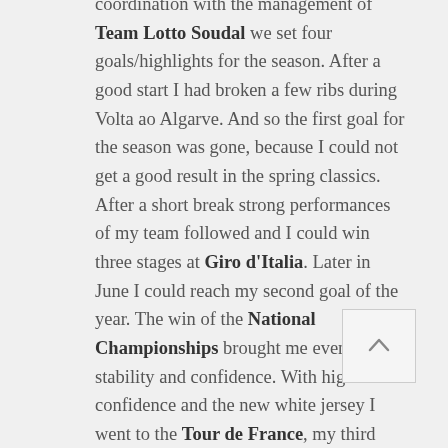coordination with the management of Team Lotto Soudal we set four goals/highlights for the season. After a good start I had broken a few ribs during Volta ao Algarve. And so the first goal for the season was gone, because I could not get a good result in the spring classics. After a short break strong performances of my team followed and I could win three stages at Giro d'Italia. Later in June I could reach my second goal of the year. The win of the National Championships brought me even more stability and confidence. With high self-confidence and the new white jersey I went to the Tour de France, my third season highlight. I wanted to win a stage for
[Figure (other): A scroll-to-top button with an upward-pointing chevron arrow]